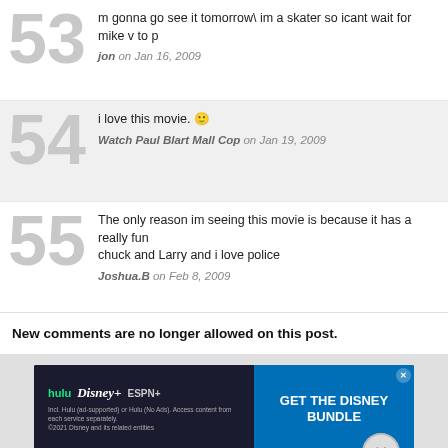53 — m gonna go see it tomorrow\ im a skater so icant wait for mike v to p
jon on Jan 16, 2009
54 — i love this movie. 🙂
Watch Paul Blart Mall Cop on Jan 19, 2009
55 — The only reason im seeing this movie is because it has a really fun chuck and Larry and i love police
Joshua.B on Feb 8, 2009
New comments are no longer allowed on this post.
[Figure (screenshot): Disney Bundle advertisement banner showing Hulu, Disney+, ESPN+ logos with 'GET THE DISNEY BUNDLE' call to action]
Want emails instead?